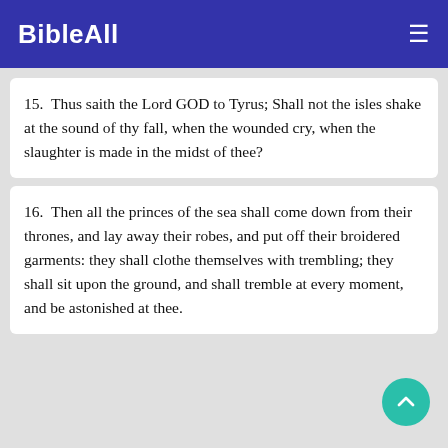BibleAll
15. Thus saith the Lord GOD to Tyrus; Shall not the isles shake at the sound of thy fall, when the wounded cry, when the slaughter is made in the midst of thee?
16. Then all the princes of the sea shall come down from their thrones, and lay away their robes, and put off their broidered garments: they shall clothe themselves with trembling; they shall sit upon the ground, and shall tremble at every moment, and be astonished at thee.